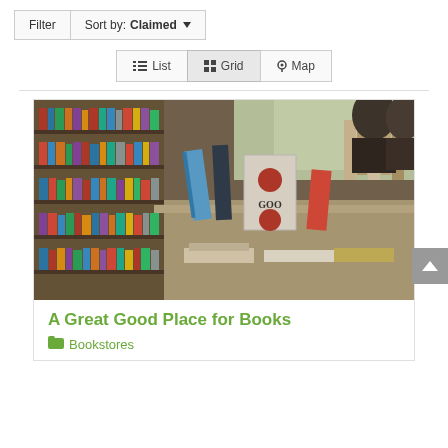Filter   Sort by: Claimed ▼
≡ List   ⊞ Grid   ⚲ Map
[Figure (photo): Interior of a bookstore showing shelves full of books and a display table with books propped up, including a white book with red seal visible]
A Great Good Place for Books
📁 Bookstores